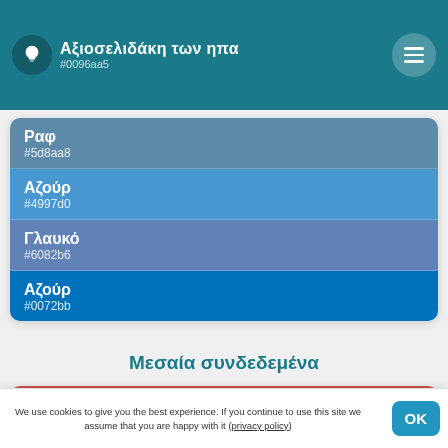Αξιοπαιδευτική των ΗΠΑ
#0096aa5
Ραφ
#5d8aa8
Αζούρ
#4997d0
Γλαυκό
#6082b6
Αζούρ
#0072bb
Μεσαία συνδεδεμένα
Μαόνι
#cd4a4c
Βυσσινί
We use cookies to give you the best experience. If you continue to use this site we assume that you are happy with it (privacy policy)